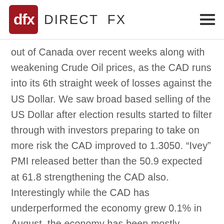DIRECT FX
out of Canada over recent weeks along with weakening Crude Oil prices, as the CAD runs into its 6th straight week of losses against the US Dollar. We saw broad based selling of the US Dollar after election results started to filter through with investors preparing to take on more risk the CAD improved to 1.3050. “Ivey” PMI released better than the 50.9 expected at 61.8 strengthening the CAD also. Interestingly while the CAD has underperformed the economy grew 0.1% in August, the economy has been mostly performing well and remains on track for annualised growth of 2% for 2018.